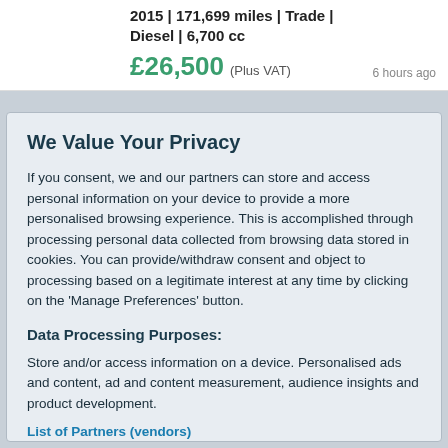2015 | 171,699 miles | Trade | Diesel | 6,700 cc
£26,500 (Plus VAT)   6 hours ago
We Value Your Privacy
If you consent, we and our partners can store and access personal information on your device to provide a more personalised browsing experience. This is accomplished through processing personal data collected from browsing data stored in cookies. You can provide/withdraw consent and object to processing based on a legitimate interest at any time by clicking on the 'Manage Preferences' button.
Data Processing Purposes:
Store and/or access information on a device. Personalised ads and content, ad and content measurement, audience insights and product development.
List of Partners (vendors)
Accept
Manage your privacy settings